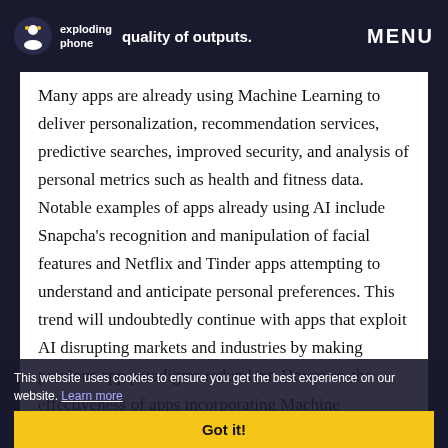quality of outputs. MENU
Many apps are already using Machine Learning to deliver personalization, recommendation services, predictive searches, improved security, and analysis of personal metrics such as health and fitness data. Notable examples of apps already using AI include Snapcha's recognition and manipulation of facial features and Netflix and Tinder apps attempting to understand and anticipate personal preferences. This trend will undoubtedly continue with apps that exploit AI disrupting markets and industries by making previous app paradigms redundant. However, the effectiveness of apps incorporating Machine Learning/AI techniques is constrained by both the data and the model used to process the data. As such it is essential to partner with
This website uses cookies to ensure you get the best experience on our website. Learn more
Got it!